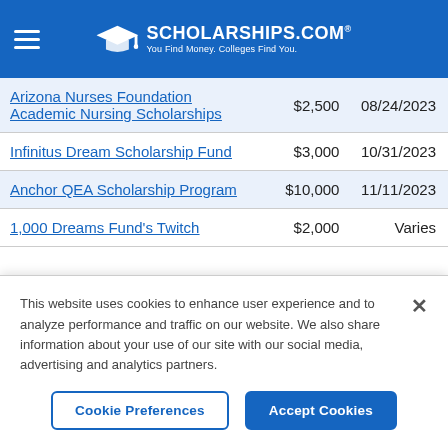SCHOLARSHIPS.COM — You Find Money. Colleges Find You.
| Scholarship Name | Amount | Deadline |
| --- | --- | --- |
| Arizona Nurses Foundation Academic Nursing Scholarships | $2,500 | 08/24/2023 |
| Infinitus Dream Scholarship Fund | $3,000 | 10/31/2023 |
| Anchor QEA Scholarship Program | $10,000 | 11/11/2023 |
| 1,000 Dreams Fund's Twitch | $2,000 | Varies |
This website uses cookies to enhance user experience and to analyze performance and traffic on our website. We also share information about your use of our site with our social media, advertising and analytics partners.
Cookie Preferences | Accept Cookies